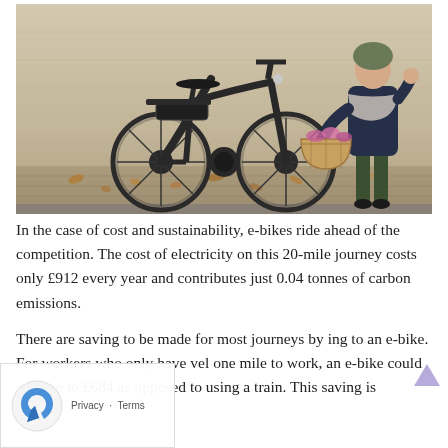[Figure (photo): A black e-bike parked on a brick pavement against a light wooden wall. A woman in a dark coat, grey scarf, and green helmet stands to the right leaning against the wall, holding a wicker basket with flowers.]
In the case of cost and sustainability, e-bikes ride ahead of the competition. The cost of electricity on this 20-mile journey costs only £912 every year and contributes just 0.04 tonnes of carbon emissions.
There are saving to be made for most journeys by ing to an e-bike. For workers who only have vel one mile to work, an e-bike could save up to £684 as opposed to using a train. This saving is